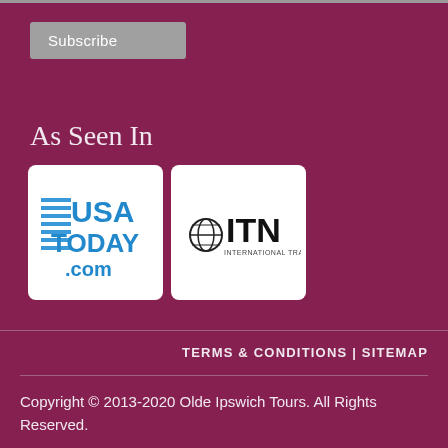Subscribe
As Seen In
[Figure (logo): USA TODAY .com logo — blue text with horizontal lines on left]
[Figure (logo): ITN International Travel News logo — globe icon with ITN text]
TERMS & CONDITIONS | SITEMAP
Copyright © 2013-2020 Olde Ipswich Tours. All Rights Reserved.